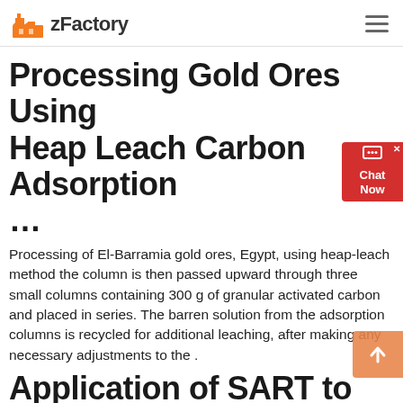zFactory
Processing Gold Ores Using Heap Leach Carbon Adsorption ...
Processing of El-Barramia gold ores, Egypt, using heap-leach method the column is then passed upward through three small columns containing 300 g of granular activated carbon and placed in series. The barren solution from the adsorption columns is recycled for additional leaching, after making any necessary adjustments to the .
Application of SART to Heap Leaching of Gold-Copper
APPLICATION OF THE SART PROCESS TO HEAP LEACHING OF . GOLD-COPPER ORES AT MARICUNGA, CHILE. KEVAN J. R. FORD AND ROBERT D. HENDERSON -- KINROSS GOLD CORPORATION, AND DR. CHRIS A. FLEMING